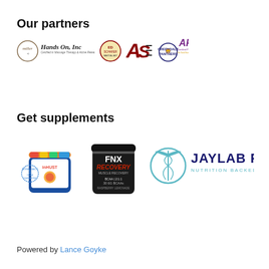Our partners
[Figure (logo): Row of partner logos: miller Hands On Inc (massage therapy & active release techniques), Ed Shafer Martial Arts, ISE logo, Greendale Panthers, ART Certified Provider]
Get supplements
[Figure (photo): Two supplement product containers (inHUST and FNX Recovery BCAA) and JayLab Pro Nutrition Backed By Science logo]
Powered by Lance Goyke